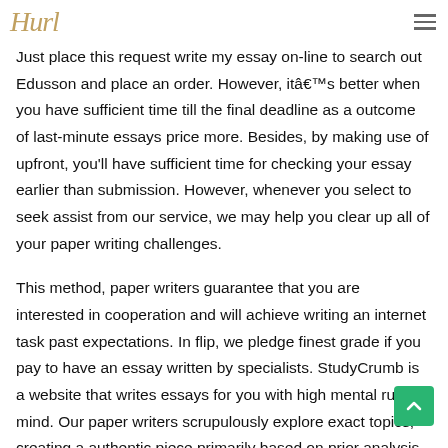Hurl
Just place this request write my essay on-line to search out Edusson and place an order. However, itâ€™s better when you have sufficient time till the final deadline as a outcome of last-minute essays price more. Besides, by making use of upfront, you'll have sufficient time for checking your essay earlier than submission. However, whenever you select to seek assist from our service, we may help you clear up all of your paper writing challenges.
This method, paper writers guarantee that you are interested in cooperation and will achieve writing an internet task past expectations. In flip, we pledge finest grade if you pay to have an essay written by specialists. StudyCrumb is a website that writes essays for you with high mental rules in mind. Our paper writers scrupulously explore exact topics, creating a authentic piece primarily based on prior analysis and authentic composition.